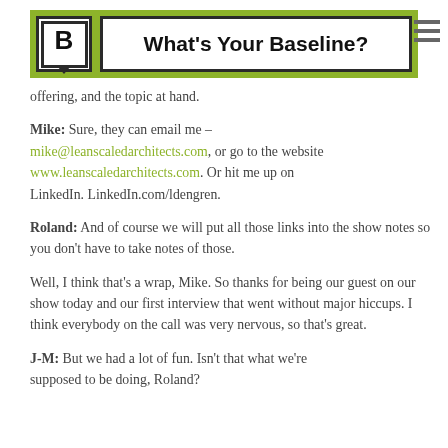What's Your Baseline?
offering, and the topic at hand.
Mike: Sure, they can email me – mike@leanscaledarchitects.com, or go to the website www.leanscaledarchitects.com. Or hit me up on LinkedIn. LinkedIn.com/ldengren.
Roland: And of course we will put all those links into the show notes so you don't have to take notes of those.
Well, I think that's a wrap, Mike. So thanks for being our guest on our show today and our first interview that went without major hiccups. I think everybody on the call was very nervous, so that's great.
J-M: But we had a lot of fun. Isn't that what we're supposed to be doing, Roland?